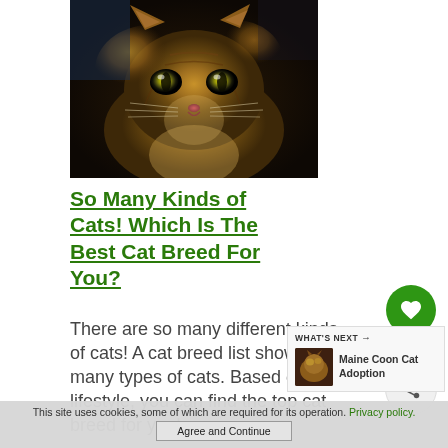[Figure (photo): Close-up photo of a fluffy brown tabby cat with yellow-green eyes looking at the camera]
So Many Kinds of Cats! Which Is The Best Cat Breed For You?
There are so many different kinds of cats! A cat breed list shows many types of cats. Based on your lifestyle, you can find the top cat breed for you!
[Figure (infographic): Social interaction panel with heart/like button showing count of 1 and a share button]
[Figure (infographic): What's Next panel showing a thumbnail of a cat and text: Maine Coon Cat Adoption]
This site uses cookies, some of which are required for its operation. Privacy policy. Agree and Continue